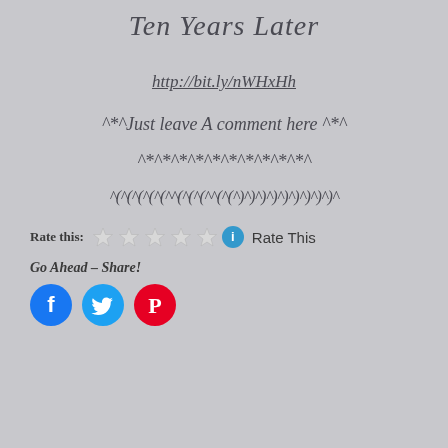Ten Years Later
http://bit.ly/nWHxHh
^*^Just leave A comment here ^*^
^*^*^*^*^*^*^*^*^*^*^
^(^(^(^(^(^^(^(^(^^(^(^)^)^)^)^)^)^)^)^)^
Rate this: ☆☆☆☆☆ ℹ Rate This
Go Ahead – Share!
[Figure (other): Social media share buttons: Facebook (blue circle with f), Twitter (blue circle with bird), Pinterest (red circle with P)]